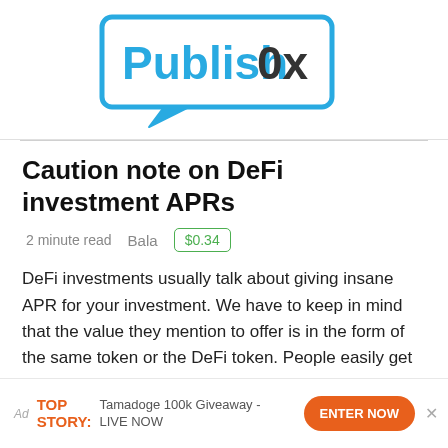[Figure (logo): Publish0x logo — speech bubble outline in light blue with 'Publish0x' text inside, 'Publish' in blue and '0x' in dark gray]
Caution note on DeFi investment APRs
2 minute read   Bala   $0.34
DeFi investments usually talk about giving insane APR for your investment. We have to keep in mind that the value they mention to offer is in the form of the same token or the DeFi token. People easily get attracted when they see the APR at 1000 % or
Ad  TOP STORY:  Tamadoge 100k Giveaway - LIVE NOW  ENTER NOW